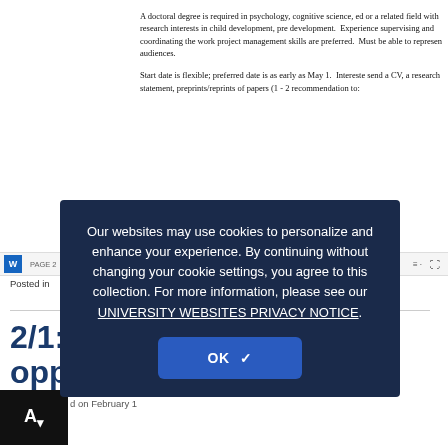A doctoral degree is required in psychology, cognitive science, ed or a related field with research interests in child development, pre development. Experience supervising and coordinating the work project management skills are preferred. Must be able to represen audiences.
Start date is flexible; preferred date is as early as May 1. Intereste send a CV, a research statement, preprints/reprints of papers (1 - 2 recommendation to:
Susan Levine, Ph.D
Department of Psychology
PAGE 1
Posted in
2/1: Post-doctoral opportunities
d on February 1
[Figure (screenshot): Cookie consent overlay dialog on a dark navy background reading: 'Our websites may use cookies to personalize and enhance your experience. By continuing without changing your cookie settings, you agree to this collection. For more information, please see our UNIVERSITY WEBSITES PRIVACY NOTICE.' with an OK button.]